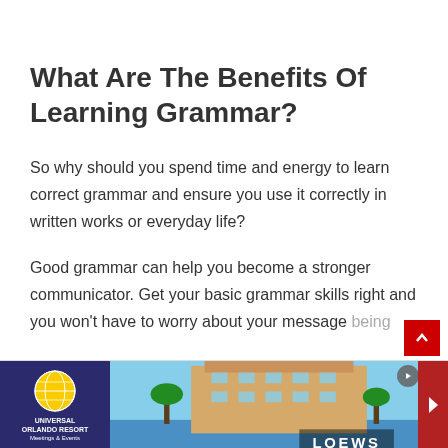What Are The Benefits Of Learning Grammar?
So why should you spend time and energy to learn correct grammar and ensure you use it correctly in written works or everyday life?
Good grammar can help you become a stronger communicator. Get your basic grammar skills right and you won’t have to worry about your message being… can…
[Figure (other): Universal Orlando Resort Meetings & Events advertisement banner with LOEWS hotel image]